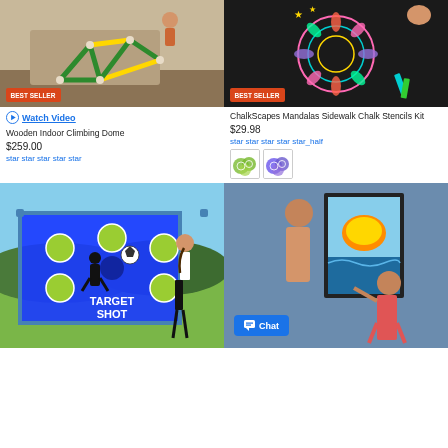[Figure (photo): Wooden Indoor Climbing Dome product photo with BEST SELLER badge]
[Figure (photo): ChalkScapes Mandalas Sidewalk Chalk Stencils Kit product photo with BEST SELLER badge]
Watch Video
Wooden Indoor Climbing Dome
$259.00
star star star star star
ChalkScapes Mandalas Sidewalk Chalk Stencils Kit
$29.98
star star star star star_half
[Figure (photo): Color swatches for chalk stencils kit - green and purple]
[Figure (photo): Target Shot soccer goal product photo]
[Figure (photo): Child displaying framed artwork on wall with Chat button overlay]